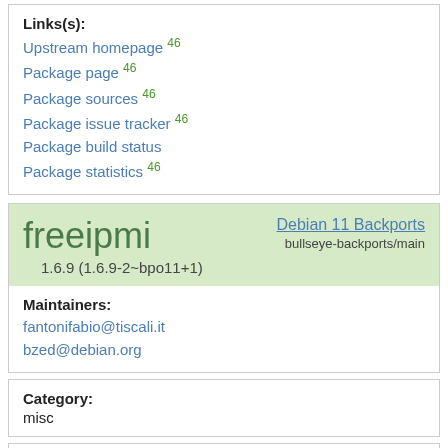Links(s): Upstream homepage 46 Package page 46 Package sources 46 Package issue tracker 46 Package build status Package statistics 46
freeipmi 1.6.9 (1.6.9-2~bpo11+1)
Debian 11 Backports bullseye-backports/main
Maintainers: fantonifabio@tiscali.it bzed@debian.org
Category: misc
Links(s): Upstream homepage 46